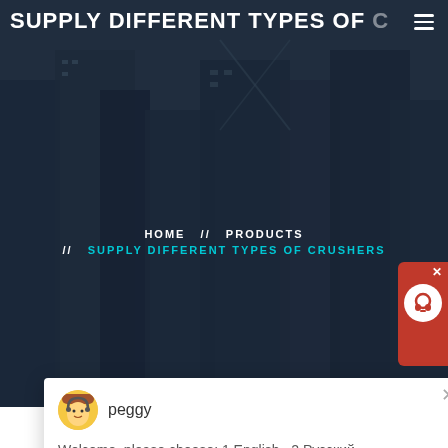SUPPLY DIFFERENT TYPES OF C
HOME // PRODUCTS // SUPPLY DIFFERENT TYPES OF CRUSHERS
[Figure (screenshot): Chat popup with agent named 'peggy'. Welcome message: 'Welcome, please choose: 1.English 2.Русский 3.Français 4.Español 5.bahasa Indonesia 6...']
Latest Projects
[Figure (photo): Industrial crusher/mining machinery equipment photo]